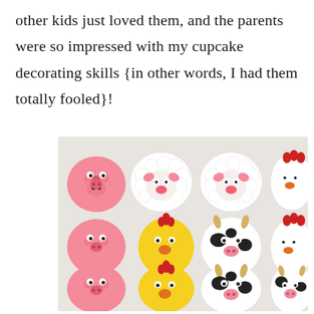other kids just loved them, and the parents were so impressed with my cupcake decorating skills {in other words, I had them totally fooled}!
[Figure (photo): A photo of 12 decorated cupcakes arranged in a 3x4 grid on a white surface. The cupcakes are decorated to look like farm animals: pink pigs, white sheep covered in mini marshmallows, yellow chicks, white cows with black spots, and white chickens with red candy combs.]